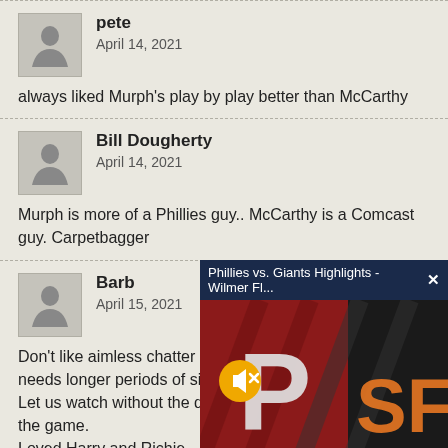pete
April 14, 2021
always liked Murph's play by play better than McCarthy
Bill Dougherty
April 14, 2021
Murph is more of a Phillies guy.. McCarthy is a Comcast guy. Carpetbagger
Barb
April 15, 2021
Don't like aimless chatter b needs longer periods of sil Let us watch without the c the game.
Loved Harry and Richie.
[Figure (screenshot): Video overlay showing Phillies vs. Giants Highlights - Wilmer Fl... with a mute button icon over a thumbnail showing the Phillies P logo and San Francisco Giants SF logo]